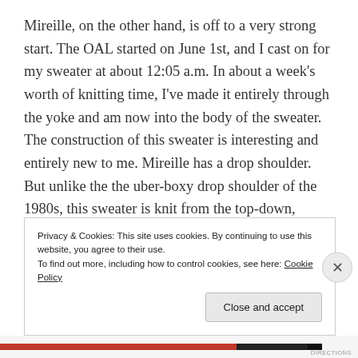Mireille, on the other hand, is off to a very strong start. The OAL started on June 1st, and I cast on for my sweater at about 12:05 a.m. In about a week's worth of knitting time, I've made it entirely through the yoke and am now into the body of the sweater. The construction of this sweater is interesting and entirely new to me. Mireille has a drop shoulder. But unlike the the uber-boxy drop shoulder of the 1980s, this sweater is knit from the top-down, working from the shoulder seam and using short rows to create a carefully shaped, sloped shoulder that looks more modern. It's meant to be loose-fitting, but the body still has some shaping
Privacy & Cookies: This site uses cookies. By continuing to use this website, you agree to their use.
To find out more, including how to control cookies, see here: Cookie Policy
Close and accept